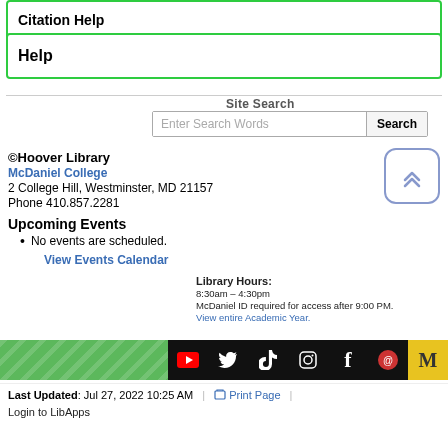Citation Help
Help
Site Search
Enter Search Words
©Hoover Library
McDaniel College
2 College Hill, Westminster, MD 21157
Phone 410.857.2281
Upcoming Events
No events are scheduled.
View Events Calendar
Library Hours:
8:30am – 4:30pm
McDaniel ID required for access after 9:00 PM.
View entire Academic Year.
Last Updated: Jul 27, 2022 10:25 AM | Print Page
Login to LibApps